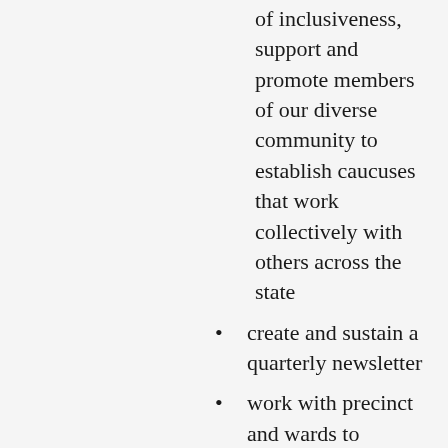of inclusiveness, support and promote members of our diverse community to establish caucuses that work collectively with others across the state
create and sustain a quarterly newsletter
work with precinct and wards to increase new voter registration projects
lead the fight to establish a fair redistricting plan for our county
continue our monthly CCC meetings by virtual means and in person when COVID restrictions are lifted